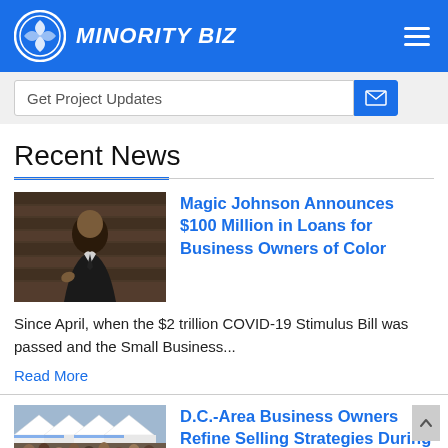MINORITY BIZ
Get Project Updates
Recent News
[Figure (photo): Man in a suit speaking or presenting, seated, with wooden slat background]
Magic Johnson Announces $100 Million in Loans for Business Owners of Color
Since April, when the $2 trillion COVID-19 Stimulus Bill was passed and the Small Business...
Read More
[Figure (photo): Outdoor market scene with white tents and crowd of people]
D.C.-Area Business Owners Refine Selling Strategies During Pandemic